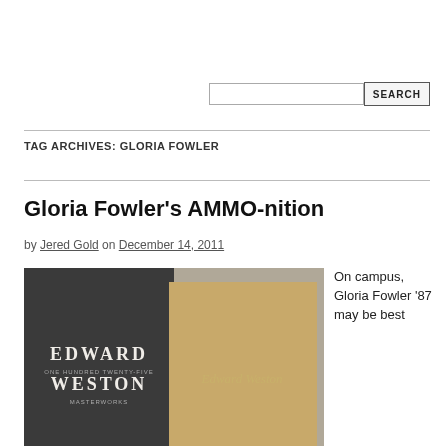Search bar area
TAG ARCHIVES: GLORIA FOWLER
Gloria Fowler's AMMO-nition
by Jered Gold on December 14, 2011
[Figure (photo): Two books side by side: a dark/black cover book 'Edward Weston One Hundred Twenty-Five Masterworks' and a brown/tan cover book signed 'Edward Weston']
On campus, Gloria Fowler '87 may be best